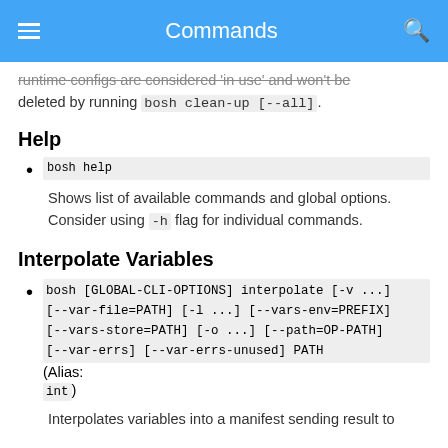Commands
runtime configs are considered 'in use' and won't be deleted by running bosh clean-up [--all].
Help
bosh help
Shows list of available commands and global options. Consider using -h flag for individual commands.
Interpolate Variables
bosh [GLOBAL-CLI-OPTIONS] interpolate [-v ...] [--var-file=PATH] [-l ...] [--vars-env=PREFIX] [--vars-store=PATH] [-o ...] [--path=OP-PATH] [--var-errs] [--var-errs-unused] PATH (Alias: int)
Interpolates variables into a manifest sending result to